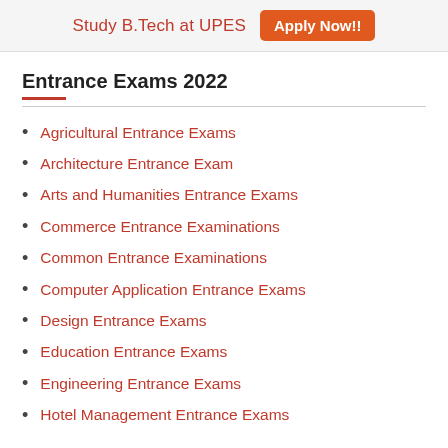Study B.Tech at UPES  Apply Now!!
Entrance Exams 2022
Agricultural Entrance Exams
Architecture Entrance Exam
Arts and Humanities Entrance Exams
Commerce Entrance Examinations
Common Entrance Examinations
Computer Application Entrance Exams
Design Entrance Exams
Education Entrance Exams
Engineering Entrance Exams
Hotel Management Entrance Exams